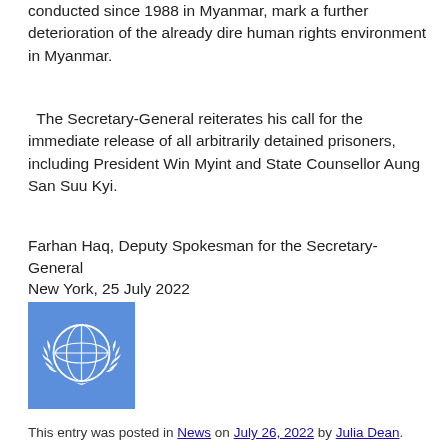conducted since 1988 in Myanmar, mark a further deterioration of the already dire human rights environment in Myanmar.
The Secretary-General reiterates his call for the immediate release of all arbitrarily detained prisoners, including President Win Myint and State Counsellor Aung San Suu Kyi.
Farhan Haq, Deputy Spokesman for the Secretary-General
New York, 25 July 2022
[Figure (logo): United Nations emblem/logo on a blue background — white UN olive-branch globe emblem]
This entry was posted in News on July 26, 2022 by Julia Dean.